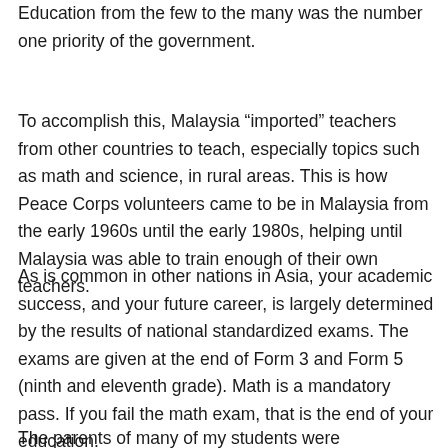Education from the few to the many was the number one priority of the government.
To accomplish this, Malaysia “imported” teachers from other countries to teach, especially topics such as math and science, in rural areas. This is how Peace Corps volunteers came to be in Malaysia from the early 1960s until the early 1980s, helping until Malaysia was able to train enough of their own teachers.
As is common in other nations in Asia, your academic success, and your future career, is largely determined by the results of national standardized exams. The exams are given at the end of Form 3 and Form 5 (ninth and eleventh grade). Math is a mandatory pass. If you fail the math exam, that is the end of your education.
The parents of many of my students were subsistence